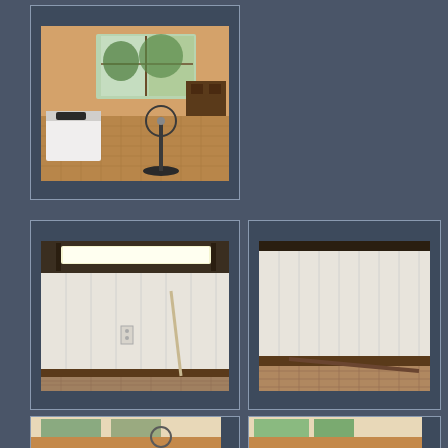[Figure (photo): Interior room photo showing a bedroom with a bed covered in white sheet, wood paneling walls, patterned floor, large windows, and a standing fan]
[Figure (photo): Interior photo showing water-damaged wall paneling, a window with fluorescent light fixture, and flooded or damaged baseboard area]
[Figure (photo): Close-up of wall paneling and baseboard with patterned floor tile, showing damage or separation]
[Figure (photo): Interior room with windows showing trees outside, fan visible, orange/tan walls]
[Figure (photo): Interior room corner with large windows showing greenery outside, tan walls]